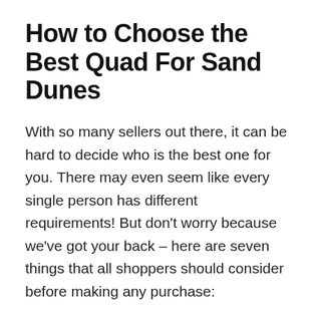How to Choose the Best Quad For Sand Dunes
With so many sellers out there, it can be hard to decide who is the best one for you. There may even seem like every single person has different requirements! But don't worry because we've got your back – here are seven things that all shoppers should consider before making any purchase:
1. Price
To avoid paying too much for a good product, it's important to consider the price. If you can't afford an expensive item and would rather buy something cheaper or wait until there is a promotion on sale